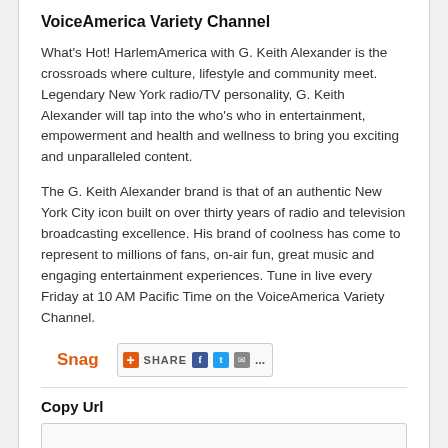VoiceAmerica Variety Channel
What's Hot! HarlemAmerica with G. Keith Alexander is the crossroads where culture, lifestyle and community meet. Legendary New York radio/TV personality, G. Keith Alexander will tap into the who's who in entertainment, empowerment and health and wellness to bring you exciting and unparalleled content.
The G. Keith Alexander brand is that of an authentic New York City icon built on over thirty years of radio and television broadcasting excellence. His brand of coolness has come to represent to millions of fans, on-air fun, great music and engaging entertainment experiences. Tune in live every Friday at 10 AM Pacific Time on the VoiceAmerica Variety Channel.
[Figure (screenshot): Snag link and Share button with Facebook, Twitter, email and more icons]
Copy Url
[Figure (screenshot): URL input box]